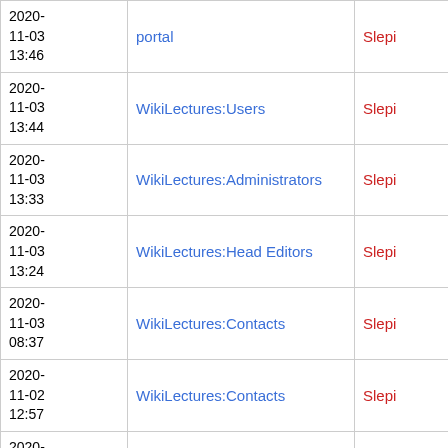| Date | Page | User | Summary |
| --- | --- | --- | --- |
| 2020-11-03 13:46 | portal | Slepi | Text replaceme… |
| 2020-11-03 13:44 | WikiLectures:Users | Slepi | Text replaceme… |
| 2020-11-03 13:33 | WikiLectures:Administrators | Slepi | Text replaceme… |
| 2020-11-03 13:24 | WikiLectures:Head Editors | Slepi | Text replaceme… |
| 2020-11-03 08:37 | WikiLectures:Contacts | Slepi | reorg |
| 2020-11-02 12:57 | WikiLectures:Contacts | Slepi | m |
| 2020-11-02 12:5… | WikiLectures:Contacts | Slepi | contacts |